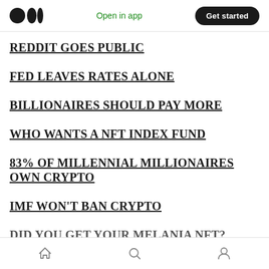Open in app | Get started
REDDIT GOES PUBLIC
FED LEAVES RATES ALONE
BILLIONAIRES SHOULD PAY MORE
WHO WANTS A NFT INDEX FUND
83% OF MILLENNIAL MILLIONAIRES OWN CRYPTO
IMF WON'T BAN CRYPTO
DID YOU GET YOUR MELANIA NFT?
Home | Search | Profile